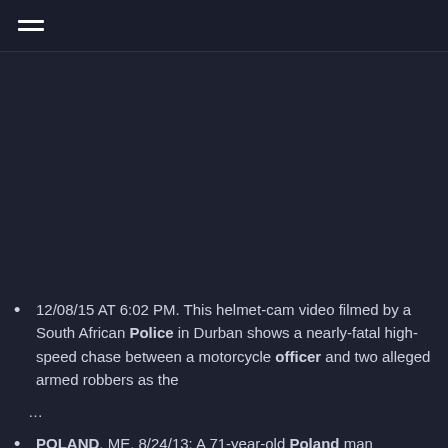12/08/15 AT 6:02 PM. This helmet-cam video filmed by a South African Police in Durban shows a nearly-fatal high-speed chase between a motorcycle officer and two alleged armed robbers as the ...
POLAND, ME, 8/24/13: A 71-year-old Poland man brandished a handgun and tried to fight off two men who broke into his mobile home early Saturday morning, police say, but he was overpowered and the ...